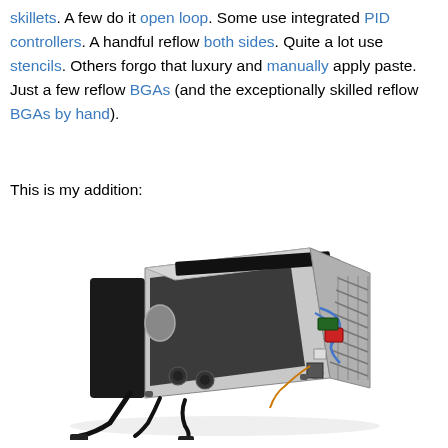skillets. A few do it open loop. Some use integrated PID controllers. A handful reflow both sides. Quite a lot use stencils. Others forgo that luxury and manually apply paste. Just a few reflow BGAs (and the exceptionally skilled reflow BGAs by hand).
This is my addition:
[Figure (photo): A modified toaster oven with its right side panel open, revealing internal electronics including wires, circuit boards, and components. Power cords extend from the bottom front.]